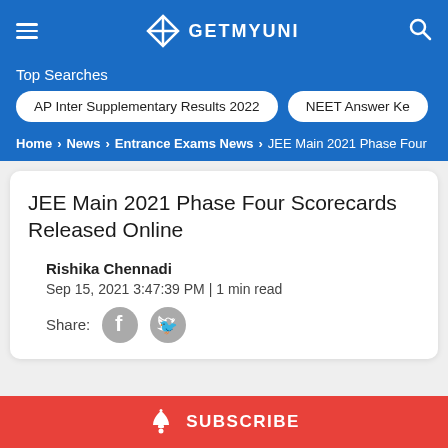GETMYUNI
Top Searches
AP Inter Supplementary Results 2022 | NEET Answer Key
Home > News > Entrance Exams News > JEE Main 2021 Phase Four
JEE Main 2021 Phase Four Scorecards Released Online
Rishika Chennadi
Sep 15, 2021 3:47:39 PM | 1 min read
Share:
SUBSCRIBE